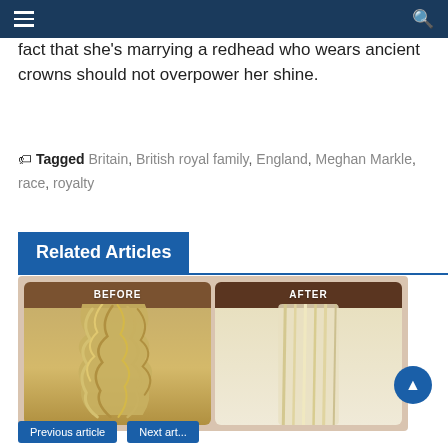Navigation bar with menu and search icons
fact that she's marrying a redhead who wears ancient crowns should not overpower her shine.
Tagged Britain, British royal family, England, Meghan Markle, race, royalty
Related Articles
[Figure (photo): Before and after hair treatment comparison photo showing two side-by-side images of a person's hair: 'BEFORE' showing curly, frizzy blonde hair, and 'AFTER' showing straight, sleek blonde hair.]
Bottom navigation buttons